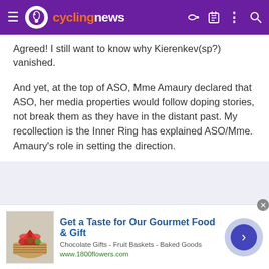cyclingnews
Agreed! I still want to know why Kierenkev(sp?) vanished.
And yet, at the top of ASO, Mme Amaury declared that ASO, her media properties would follow doping stories, not break them as they have in the distant past. My recollection is the Inner Ring has explained ASO/Mme. Amaury's role in setting the direction.
[Figure (screenshot): Advertisement for 1800flowers.com: Get a Taste for Our Gourmet Food & Gift. Chocolate Gifts - Fruit Baskets - Baked Goods. www.1800flowers.com]